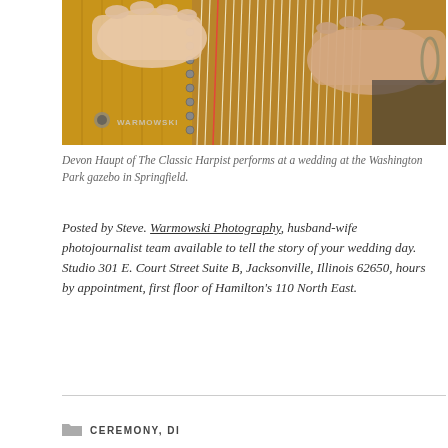[Figure (photo): Close-up photograph of hands playing a harp, showing strings, tuning pegs, and soundboard of the instrument. A WARMOWSKI watermark appears in the lower left corner.]
Devon Haupt of The Classic Harpist performs at a wedding at the Washington Park gazebo in Springfield.
Posted by Steve. Warmowski Photography, husband-wife photojournalist team available to tell the story of your wedding day. Studio 301 E. Court Street Suite B, Jacksonville, Illinois 62650, hours by appointment, first floor of Hamilton’s 110 North East.
CEREMONY, DI